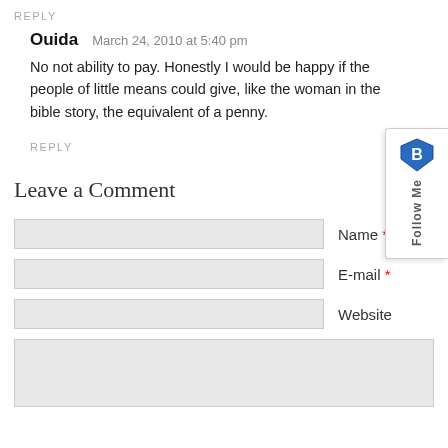REPLY
Ouida  March 24, 2010 at 5:40 pm
No not ability to pay. Honestly I would be happy if the people of little means could give, like the woman in the bible story, the equivalent of a penny.
REPLY
Leave a Comment
Name *
E-mail *
Website
[Figure (other): Follow Me sidebar widget with blue shield icon]